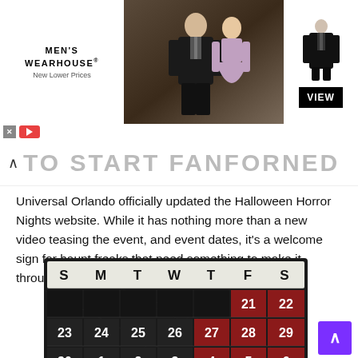[Figure (photo): Men's Wearhouse advertisement banner showing a couple in formal wear and a man in a tuxedo, with 'VIEW' button. Brand text: MEN'S WEARHOUSE New Lower Prices.]
TO START FANFORNED
Universal Orlando officially updated the Halloween Horror Nights website. While it has nothing more than a new video teasing the event, and event dates, it's a welcome sign for haunt freaks that need something to make it through the long hot summer.
[Figure (other): Halloween Horror Nights event calendar showing dates in September and October. Dark/horror themed calendar grid with headers S M T W T F S. Dates shown: 21, 22 (first row); 23, 24, 25, 26, 27, 28, 29 (second row); 30, 1, 2, 3, 4, 5, 6 (third row); 7, 8, 9, 10, 11, 12, 13 (fourth row). Event dates (Thursdays, Fridays, Saturdays) highlighted in dark red.]